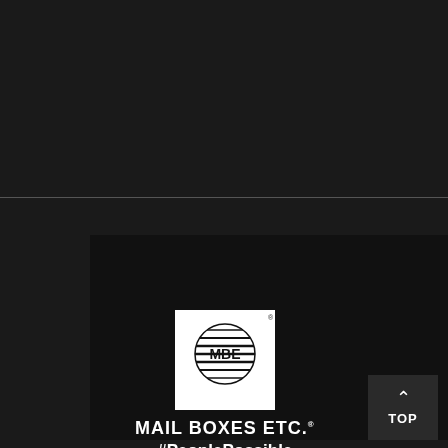[Figure (logo): Mail Boxes Etc. (MBE) logo with globe/lines motif on white square background, company name MAIL BOXES ETC. in white bold text, hashtag #PeoplePossible in white with red underline, on dark background]
TOP